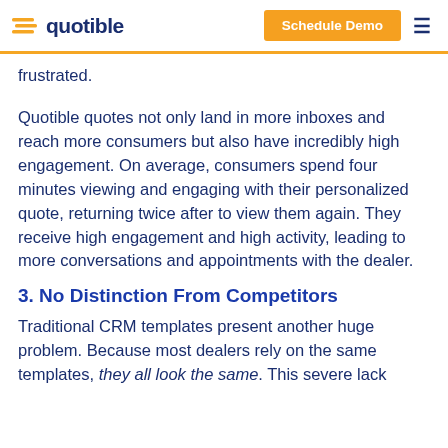quotible | Schedule Demo
frustrated.
Quotible quotes not only land in more inboxes and reach more consumers but also have incredibly high engagement. On average, consumers spend four minutes viewing and engaging with their personalized quote, returning twice after to view them again. They receive high engagement and high activity, leading to more conversations and appointments with the dealer.
3. No Distinction From Competitors
Traditional CRM templates present another huge problem. Because most dealers rely on the same templates, they all look the same. This severe lack